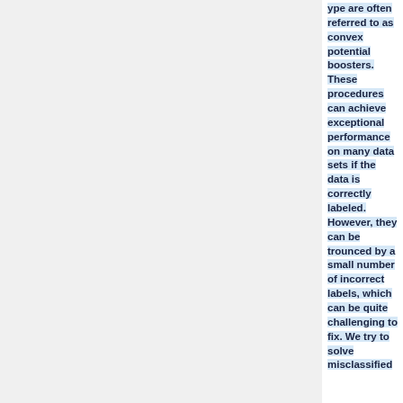ype are often referred to as convex potential boosters. These procedures can achieve exceptional performance on many data sets if the data is correctly labeled. However, they can be trounced by a small number of incorrect labels, which can be quite challenging to fix. We try to solve misclassified